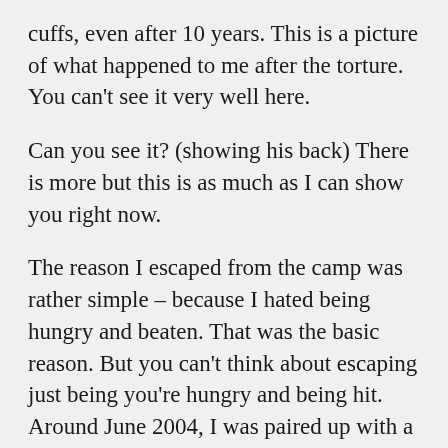cuffs, even after 10 years. This is a picture of what happened to me after the torture. You can't see it very well here.
Can you see it? (showing his back) There is more but this is as much as I can show you right now.
The reason I escaped from the camp was rather simple – because I hated being hungry and beaten. That was the basic reason. But you can't think about escaping just being you're hungry and being hit. Around June 2004, I was paired up with a man from Pyongyang at work. We are never supposed to talk about the world outside the